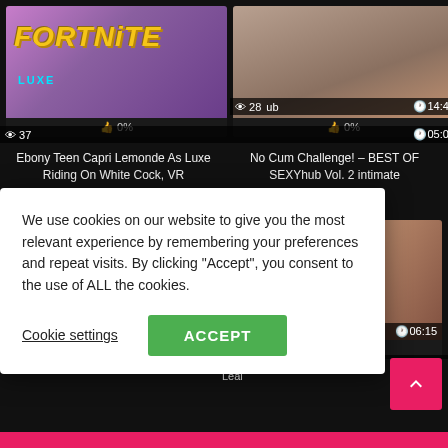[Figure (screenshot): Fortnite themed thumbnail with purple background, woman figure, yellow Fortnite logo, LUXE text in cyan. Views: 37, Duration: 05:04, Rating: 0%]
Ebony Teen Capri Lemonde As Luxe Riding On White Cock, VR
[Figure (screenshot): Video thumbnail showing intimate scene. Views: 28, partial 'ub' text visible, Duration: 14:45, Rating: 0%]
No Cum Challenge! – BEST OF SEXYhub Vol. 2 intimate
[Figure (screenshot): Video thumbnail bottom left, partially obscured by cookie banner]
[Figure (screenshot): Video thumbnail bottom right. Duration: 06:15, Rating: 0%]
rilling of ca Leal
We use cookies on our website to give you the most relevant experience by remembering your preferences and repeat visits. By clicking "Accept", you consent to the use of ALL the cookies.
Cookie settings
ACCEPT